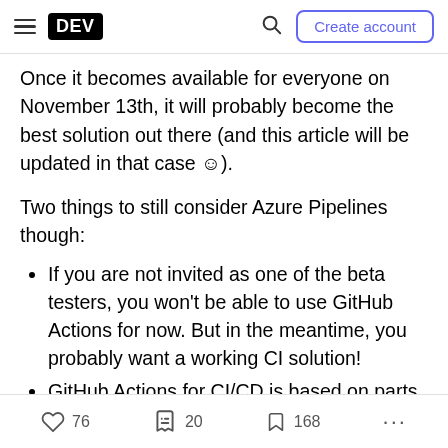DEV | Search | Create account
Once it becomes available for everyone on November 13th, it will probably become the best solution out there (and this article will be updated in that case ☺).
Two things to still consider Azure Pipelines though:
If you are not invited as one of the beta testers, you won't be able to use GitHub Actions for now. But in the meantime, you probably want a working CI solution!
GitHub Actions for CI/CD is based on parts of the Azure Pipelines stack, so migration should be a
76  20  168  ...